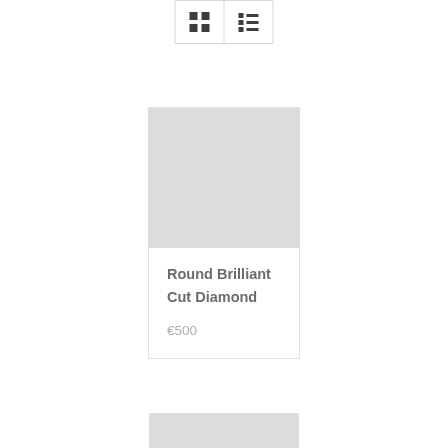[Figure (screenshot): Toolbar with grid view and list view toggle buttons]
[Figure (illustration): Product image placeholder (light gray rectangle)]
Round Brilliant Cut Diamond
€500